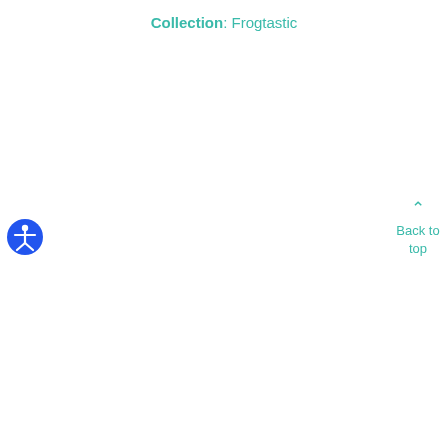Collection: Frogtastic
[Figure (illustration): Blue circular accessibility icon showing a human figure with arms and legs spread, white silhouette on blue background]
Back to top